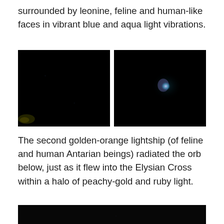surrounded by leonine, feline and human-like faces in vibrant blue and aqua light vibrations.
[Figure (photo): Two side-by-side dark/black photos. Left photo is nearly entirely black with a faint yellow-green spot at bottom left. Right photo is black with a glowing teal/blue-white orb in the center-right area.]
The second golden-orange lightship (of feline and human Antarian beings) radiated the orb below, just as it flew into the Elysian Cross within a halo of peachy-gold and ruby light.
[Figure (photo): A dark/black photo filling the bottom of the page, mostly black with very faint details.]